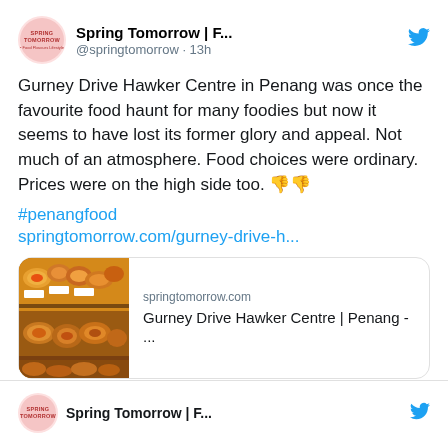[Figure (screenshot): Twitter/social media screenshot showing a tweet from Spring Tomorrow account about Gurney Drive Hawker Centre in Penang, with a link card showing food image]
Spring Tomorrow | F... @springtomorrow · 13h
Gurney Drive Hawker Centre in Penang was once the favourite food haunt for many foodies but now it seems to have lost its former glory and appeal. Not much of an atmosphere. Food choices were ordinary. Prices were on the high side too. 👎👎 #penangfood springtomorrow.com/gurney-drive-h...
springtomorrow.com Gurney Drive Hawker Centre | Penang - ...